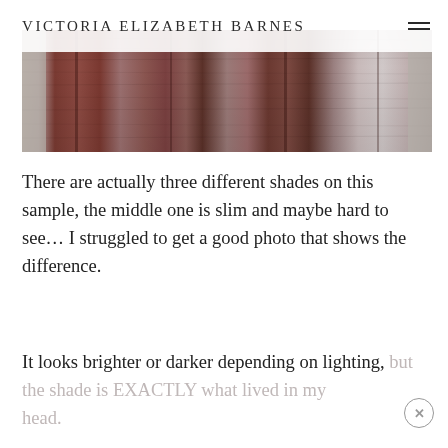Victoria Elizabeth Barnes
[Figure (photo): Close-up photograph of wood panels showing three different shades/stains of dark reddish-brown wood, with stone visible at edges]
There are actually three different shades on this sample, the middle one is slim and maybe hard to see... I struggled to get a good photo that shows the difference.
It looks brighter or darker depending on lighting, but the shade is EXACTLY what lived in my head.